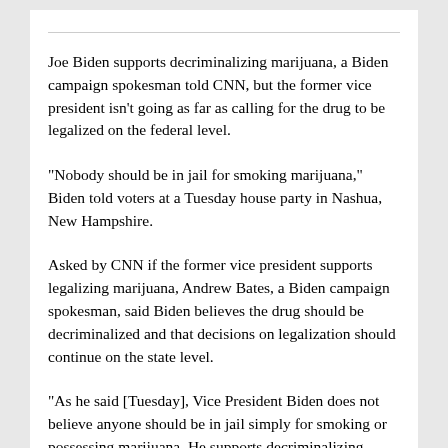Joe Biden supports decriminalizing marijuana, a Biden campaign spokesman told CNN, but the former vice president isn't going as far as calling for the drug to be legalized on the federal level.
"Nobody should be in jail for smoking marijuana," Biden told voters at a Tuesday house party in Nashua, New Hampshire.
Asked by CNN if the former vice president supports legalizing marijuana, Andrew Bates, a Biden campaign spokesman, said Biden believes the drug should be decriminalized and that decisions on legalization should continue on the state level.
"As he said [Tuesday], Vice President Biden does not believe anyone should be in jail simply for smoking or possessing marijuana. He supports decriminalizing marijuana and automatically expunging prior criminal